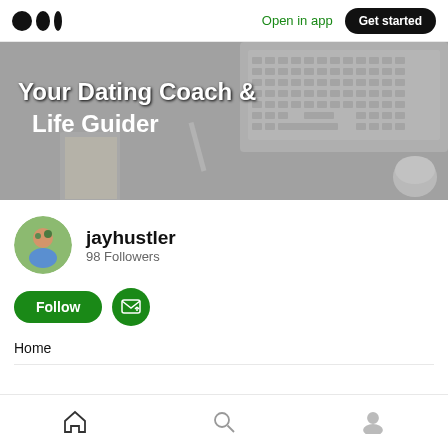Medium logo | Open in app | Get started
[Figure (screenshot): Banner image showing a desk workspace with laptop keyboard and office items in gray tones, with white bold text overlay reading 'Your Dating Coach & Life Guider']
Your Dating Coach & Life Guider
[Figure (photo): Circular profile photo of a man wearing a blue shirt outdoors with green plants in background]
jayhustler
98 Followers
Follow
Home
Bottom navigation bar with Home, Search, and Profile icons